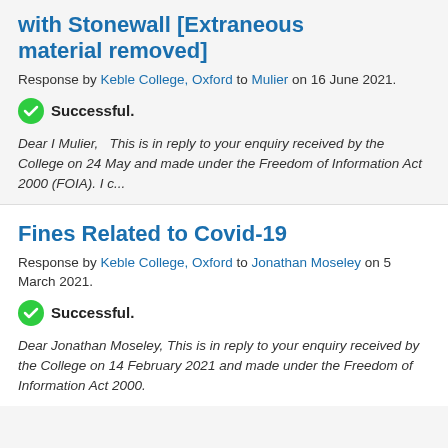with Stonewall [Extraneous material removed]
Response by Keble College, Oxford to Mulier on 16 June 2021.
Successful.
Dear I Mulier,   This is in reply to your enquiry received by the College on 24 May and made under the Freedom of Information Act 2000 (FOIA). I c...
Fines Related to Covid-19
Response by Keble College, Oxford to Jonathan Moseley on 5 March 2021.
Successful.
Dear Jonathan Moseley, This is in reply to your enquiry received by the College on 14 February 2021 and made under the Freedom of Information Act 2000.